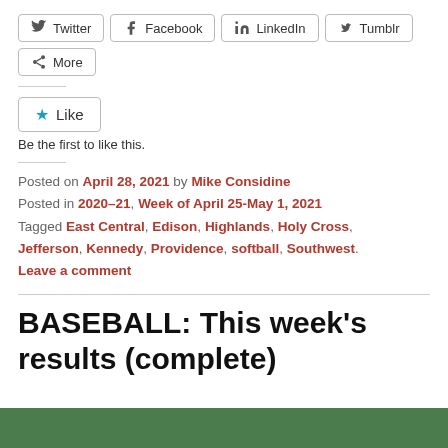[Figure (other): Social share buttons: Twitter, Facebook, LinkedIn, Tumblr, More]
[Figure (other): Like button with star icon]
Be the first to like this.
Posted on April 28, 2021 by Mike Considine
Posted in 2020-21, Week of April 25-May 1, 2021
Tagged East Central, Edison, Highlands, Holy Cross, Jefferson, Kennedy, Providence, softball, Southwest.
Leave a comment
BASEBALL: This week's results (complete)
[Figure (photo): Green field image strip at bottom of page]